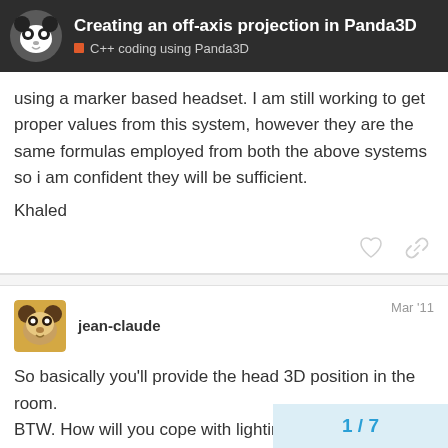Creating an off-axis projection in Panda3D — C++ coding using Panda3D
using a marker based headset. I am still working to get proper values from this system, however they are the same formulas employed from both the above systems so i am confident they will be sufficient.

Khaled
jean-claude  Mar '11
So basically you'll provide the head 3D position in the room.
BTW. How will you cope with lighting?
1 / 7